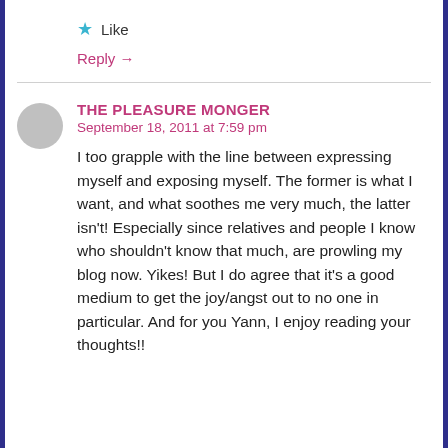★ Like
Reply →
THE PLEASURE MONGER
September 18, 2011 at 7:59 pm
I too grapple with the line between expressing myself and exposing myself. The former is what I want, and what soothes me very much, the latter isn't! Especially since relatives and people I know who shouldn't know that much, are prowling my blog now. Yikes! But I do agree that it's a good medium to get the joy/angst out to no one in particular. And for you Yann, I enjoy reading your thoughts!!